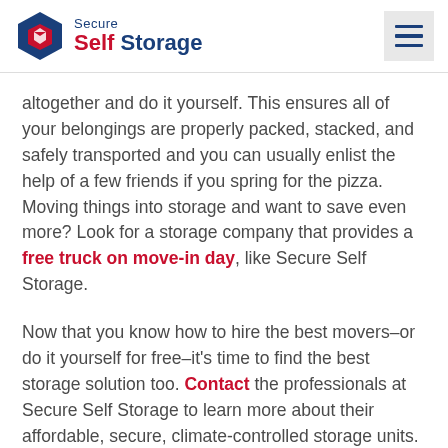Secure Self Storage
altogether and do it yourself. This ensures all of your belongings are properly packed, stacked, and safely transported and you can usually enlist the help of a few friends if you spring for the pizza. Moving things into storage and want to save even more? Look for a storage company that provides a free truck on move-in day, like Secure Self Storage.
Now that you know how to hire the best movers–or do it yourself for free–it's time to find the best storage solution too. Contact the professionals at Secure Self Storage to learn more about their affordable, secure, climate-controlled storage units.